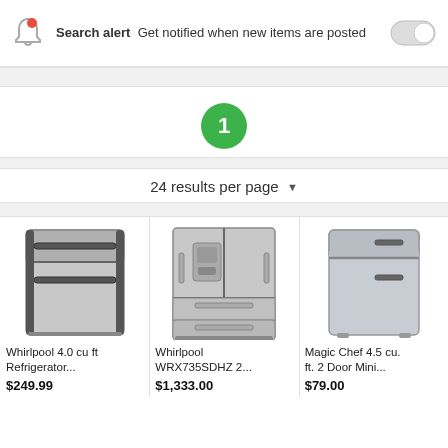Search alert  Get notified when new items are posted
1
24 results per page
[Figure (photo): Whirlpool 4.0 cu ft top-freezer stainless steel refrigerator]
Whirlpool 4.0 cu ft Refrigerator...
$249.99
[Figure (photo): Whirlpool WRX735SDHZ French door stainless steel refrigerator]
Whirlpool WRX735SDHZ 2...
$1,333.00
[Figure (photo): Magic Chef 4.5 cu ft 2 door mini refrigerator]
Magic Chef 4.5 cu. ft. 2 Door Mini...
$79.00